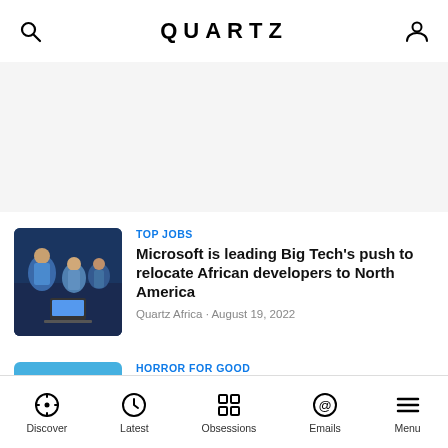QUARTZ
TOP JOBS
Microsoft is leading Big Tech's push to relocate African developers to North America
Quartz Africa · August 19, 2022
HORROR FOR GOOD
Jordan Peele's Monkeypaw Wares clothing and Coffee is nothing like typical Hollywood merch
Quartz · August 16, 2022
Discover   Latest   Obsessions   Emails   Menu